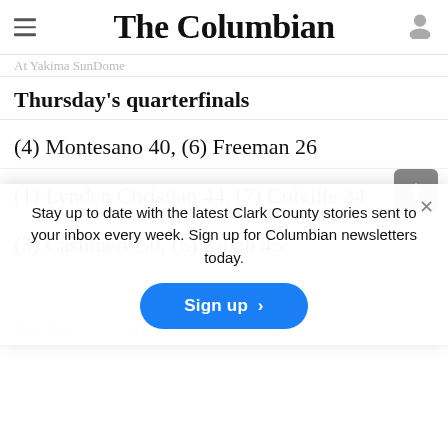At Yakima SunDome
The Columbian
Thursday's quarterfinals
(4) Montesano 40, (6) Freeman 26
(1) Lynden Christian 44, (7) Colville 34
(3) Cashmere 50, (5) Zillah 45
(2) No. ??? ???, (8) ??? ???
Friday's semifinal
Stay up to date with the latest Clark County stories sent to your inbox every week. Sign up for Columbian newsletters today.